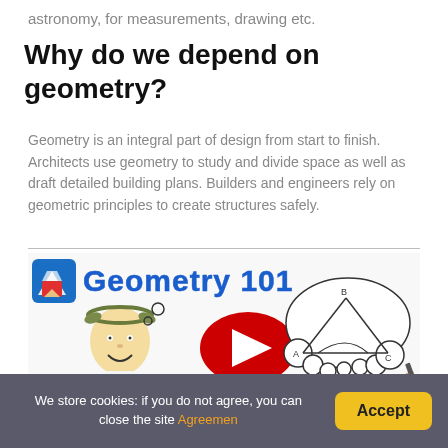astronomy, for measurements, drawing etc.
Why do we depend on geometry?
Geometry is an integral part of design from start to finish. Architects use geometry to study and divide space as well as draft detailed building plans. Builders and engineers rely on geometric principles to create structures safely.
[Figure (screenshot): Geometry 101 educational video thumbnail showing a cartoon figure of a person wearing a laurel wreath, a YouTube play button icon in the center, and a thought bubble containing a geometric triangle diagram labeled with points A, B, C. The title 'Geometry 101' appears in blue at the top with a pencil/book logo.]
We store cookies: if you do not agree, you can close the site Agreemen